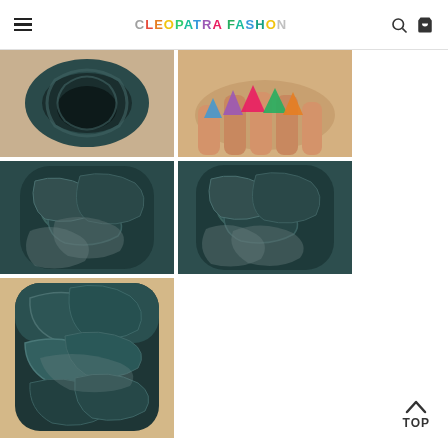CLEOPATRA FASHION - navigation header with menu, logo, search and cart icons
[Figure (photo): Close-up photo of a dark teal/black ceramic incense burner top view showing a hollow opening]
[Figure (photo): Photo of a hand holding small colorful incense cones in purple, pink, green and orange colors]
[Figure (photo): Close-up photo of a dark teal ceramic backflow incense burner showing textured leaf/wave relief design]
[Figure (photo): Close-up photo of a dark teal ceramic backflow incense burner showing textured leaf/wave relief design from a slightly different angle]
[Figure (photo): Close-up photo of a dark teal ceramic backflow incense burner showing textured design from front bottom angle]